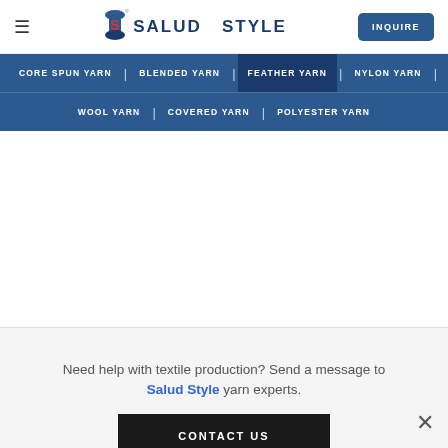Salud Style — INQUIRE
CORE SPUN YARN | BLENDED YARN | FEATHER YARN | NYLON YARN | WOOL YARN | COVERED YARN | POLYESTER YARN
Need help with textile production? Send a message to Salud Style yarn experts.
CONTACT US